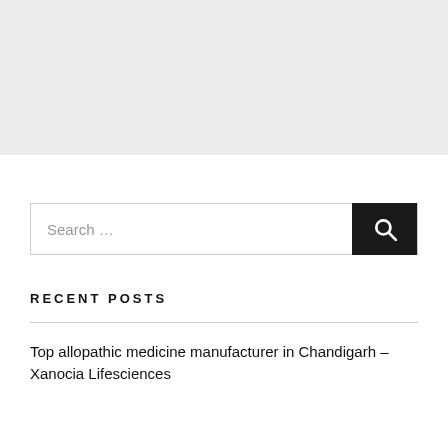[Figure (other): Gray banner/advertisement placeholder area at top of page]
Search ...
RECENT POSTS
Top allopathic medicine manufacturer in Chandigarh – Xanocia Lifesciences